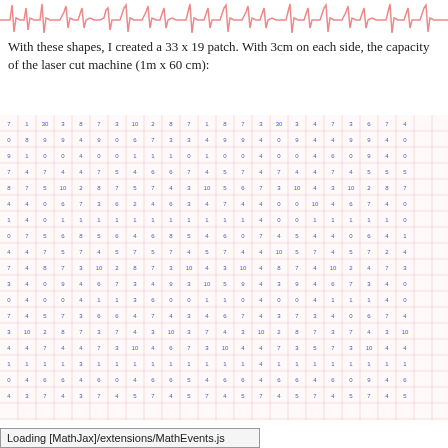[Figure (other): ECG/heartbeat waveform pattern strip at top of page in pink/red color]
With these shapes, I created a 33 x 19 patch. With 3cm on each side, the capacity of the laser cut machine (1m x 60 cm):
[Figure (other): Grid of numbers arranged in a 33x19 table pattern with pink grid lines and blue numbers, representing a patch numbering system]
Loading [MathJax]/extensions/MathEvents.js